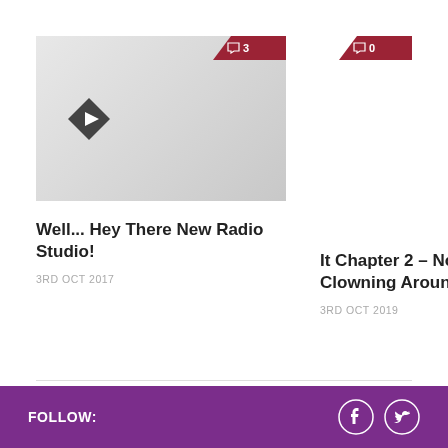[Figure (screenshot): Thumbnail image placeholder with a light grey background and a dark diamond-shaped play icon on the left. A red comment badge showing '3' is in the top-right corner of the thumbnail.]
Well... Hey There New Radio Studio!
3RD OCT 2017
[Figure (other): Comment badge with '0' on the right side, red background with arrow cut on left]
It Chapter 2 – Not Clowning Around
3RD OCT 2019
FOLLOW: